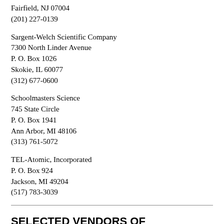Fairfield, NJ 07004
(201) 227-0139
Sargent-Welch Scientific Company
7300 North Linder Avenue
P. O. Box 1026
Skokie, IL 60077
(312) 677-0600
Schoolmasters Science
745 State Circle
P. O. Box 1941
Ann Arbor, MI 48106
(313) 761-5072
TEL-Atomic, Incorporated
P. O. Box 924
Jackson, MI 49204
(517) 783-3039
SELECTED VENDORS OF AUDIOVISUAL AND COMPUTER MATERIALS